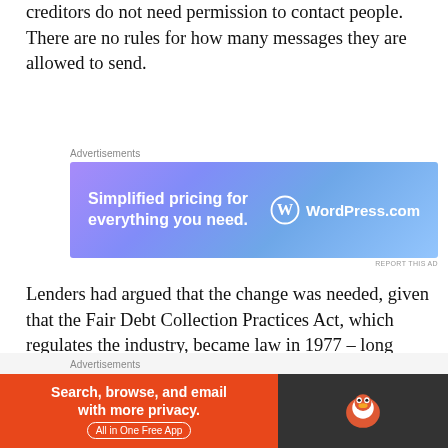creditors do not need permission to contact people. There are no rules for how many messages they are allowed to send.
[Figure (screenshot): WordPress.com advertisement banner with gradient purple-blue background, text 'Simplified pricing for everything you need.' and WordPress.com logo]
Lenders had argued that the change was needed, given that the Fair Debt Collection Practices Act, which regulates the industry, became law in 1977 – long before the creation of social media and cell phone texts.
The rule also creates a new limit for phone calls
[Figure (screenshot): DuckDuckGo advertisement banner with orange background, text 'Search, browse, and email with more privacy. All in One Free App' and DuckDuckGo logo on dark right panel]